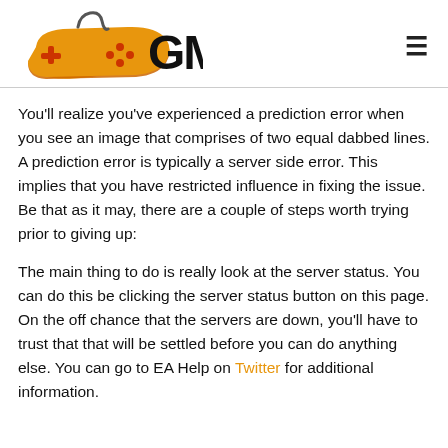GM
You'll realize you've experienced a prediction error when you see an image that comprises of two equal dabbed lines. A prediction error is typically a server side error. This implies that you have restricted influence in fixing the issue. Be that as it may, there are a couple of steps worth trying prior to giving up:
The main thing to do is really look at the server status. You can do this be clicking the server status button on this page. On the off chance that the servers are down, you'll have to trust that that will be settled before you can do anything else. You can go to EA Help on Twitter for additional information.